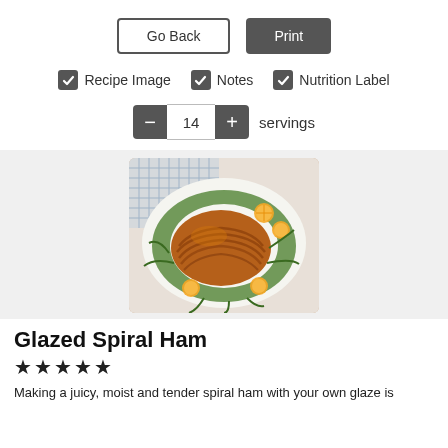Go Back | Print
✓ Recipe Image  ✓ Notes  ✓ Nutrition Label
− 14 + servings
[Figure (photo): Overhead photo of a glazed spiral ham on a white plate, garnished with fresh dill/herbs and orange slices, placed on a blue checkered cloth background.]
Glazed Spiral Ham
★★★★★
Making a juicy, moist and tender spiral ham with your own glaze is